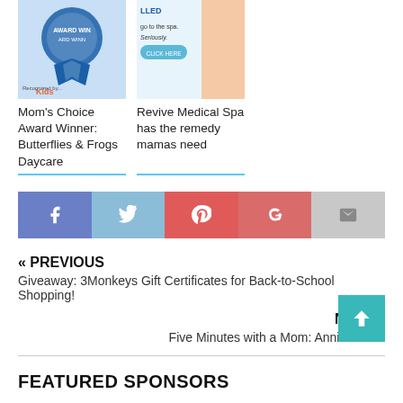[Figure (illustration): Two thumbnail images side by side: left shows Mom's Choice Award badge with Kids branding, right shows a spa/medical spa advertisement with a woman]
Mom's Choice Award Winner: Butterflies & Frogs Daycare
Revive Medical Spa has the remedy mamas need
[Figure (infographic): Social sharing bar with icons for Facebook, Twitter, Pinterest, Google+, and Email]
« PREVIOUS
Giveaway: 3Monkeys Gift Certificates for Back-to-School Shopping!
NEXT »
Five Minutes with a Mom: Annie Martin
FEATURED SPONSORS